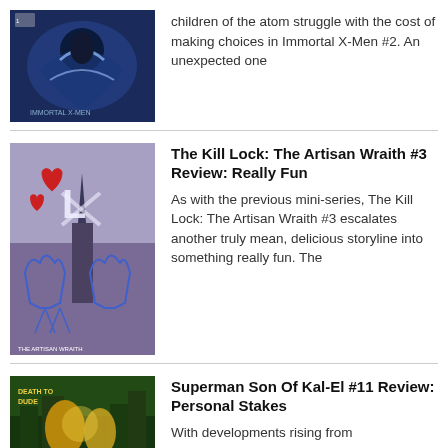[Figure (illustration): Comic book cover for Immortal X-Men #2 showing a character with blue/white energy effects]
children of the atom struggle with the cost of making choices in Immortal X-Men #2. An unexpected one
[Figure (illustration): Comic book cover for The Kill Lock: The Artisan Wraith #3 showing purple/blue robot figures with red heart graffiti]
The Kill Lock: The Artisan Wraith #3 Review: Really Fun
As with the previous mini-series, The Kill Lock: The Artisan Wraith #3 escalates another truly mean, delicious storyline into something really fun. The
[Figure (illustration): Comic book cover for Superman Son Of Kal-El #11 showing characters with gold and green tones]
Superman Son Of Kal-El #11 Review: Personal Stakes
With developments rising from